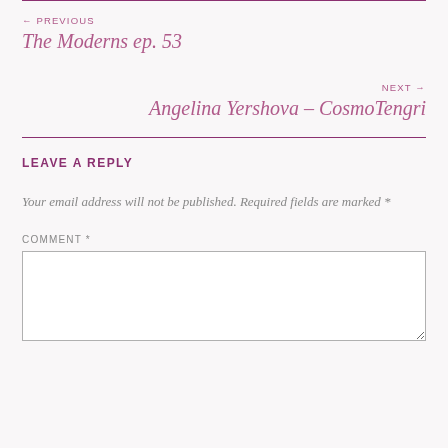← PREVIOUS
The Moderns ep. 53
NEXT →
Angelina Yershova – CosmoTengri
LEAVE A REPLY
Your email address will not be published. Required fields are marked *
COMMENT *